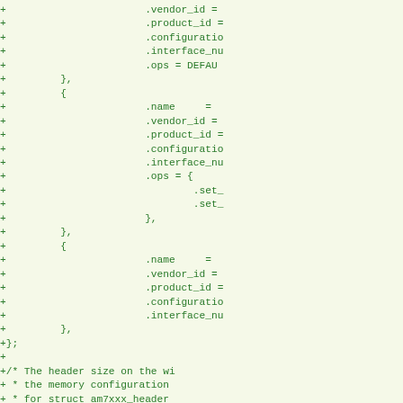Code diff showing additions to a C source file including USB device table entries and struct am7xxx_device definition with comments about AM7XXX_HEADER_WIRE_S size